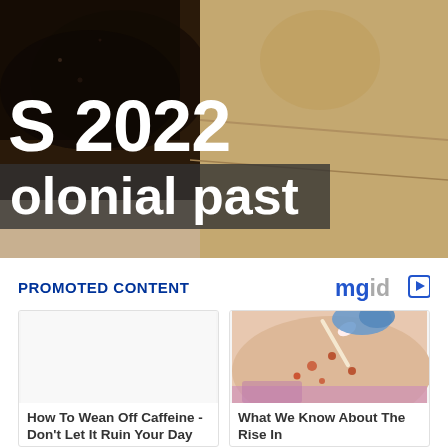[Figure (photo): Hero image showing two hands shaking/touching against a sandy background, with white bold text '5 2022' and a dark background text 'olonial past' overlaid on the image]
PROMOTED CONTENT
[Figure (logo): mgid logo with play button icon in blue/grey]
[Figure (photo): Left card: blank white image area for article about caffeine]
How To Wean Off Caffeine - Don't Let It Ruin Your Day
[Figure (photo): Right card: photo of person's shoulder/neck area with spots being treated with a cotton swab by a gloved hand]
What We Know About The Rise In